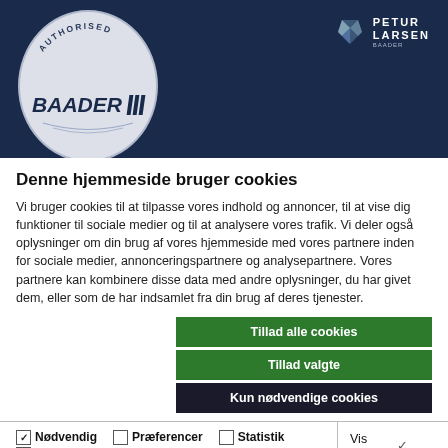[Figure (logo): Dark navy header banner with Baader Authorised circular badge on the left and Petur Larsen logo on the top right]
Denne hjemmeside bruger cookies
Vi bruger cookies til at tilpasse vores indhold og annoncer, til at vise dig funktioner til sociale medier og til at analysere vores trafik. Vi deler også oplysninger om din brug af vores hjemmeside med vores partnere inden for sociale medier, annonceringspartnere og analysepartnere. Vores partnere kan kombinere disse data med andre oplysninger, du har givet dem, eller som de har indsamlet fra din brug af deres tjenester.
Tillad alle cookies
Tillad valgte
Kun nødvendige cookies
Nødvendig  Præferencer  Statistik  Marketing  Vis detaljer